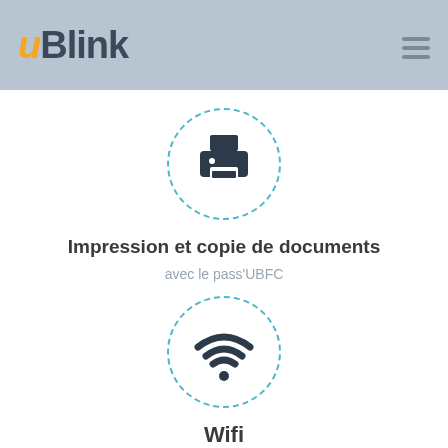uBlink
[Figure (illustration): Printer icon inside a dashed circle]
Impression et copie de documents
avec le pass'UBFC
[Figure (illustration): WiFi icon inside a dashed circle]
Wifi